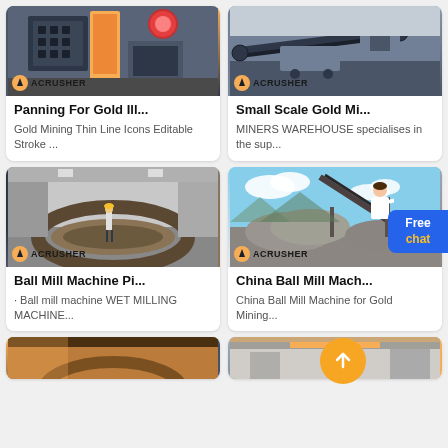[Figure (photo): Industrial crusher/mining equipment in a workshop, yellow machinery visible. Acrusher logo badge at bottom left.]
Panning For Gold Ill...
Gold Mining Thin Line Icons Editable Stroke ...
[Figure (photo): Mining conveyor equipment in a facility. Acrusher logo badge at bottom left.]
Small Scale Gold Mi...
MINERS WAREHOUSE specialises in the sup...
[Figure (photo): Black and white photo of a large ball mill ring/shell in a factory, worker standing inside for scale. Acrusher logo badge at bottom left.]
Ball Mill Machine Pi...
· Ball mill machine WET MILLING MACHINE...
[Figure (photo): Outdoor mining site with gravel piles and conveyor belts against a cloudy sky. Acrusher logo badge at bottom left.]
China Ball Mill Mach...
China Ball Mill Machine for Gold Mining...
[Figure (photo): Partial view of industrial mining/milling equipment in a factory, orange and steel tones.]
[Figure (photo): Partial view of overhead crane or industrial equipment in a factory.]